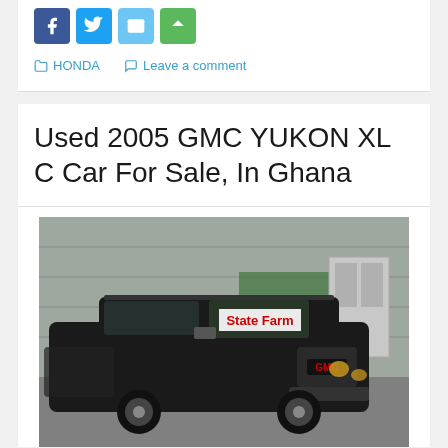[Figure (other): Social sharing icons: Facebook, Twitter, Email, Share (green)]
HONDA   Leave a comment
Used 2005 GMC YUKON XL C Car For Sale, In Ghana
[Figure (photo): Photo of a black 2005 GMC Yukon XL parked inside a building. A 'State Farm' sign is visible on the windshield. The GMC logo is visible on the front grille.]